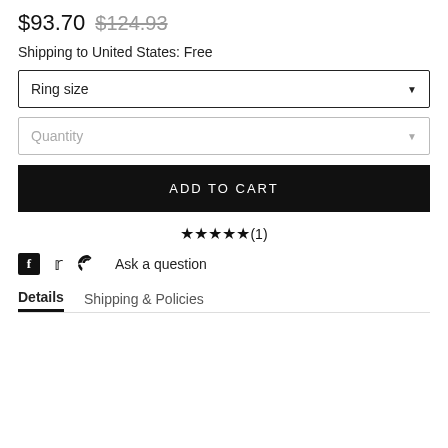$93.70  $124.93
Shipping to United States: Free
Ring size
Quantity
ADD TO CART
★★★★★(1)
Ask a question
Details   Shipping & Policies